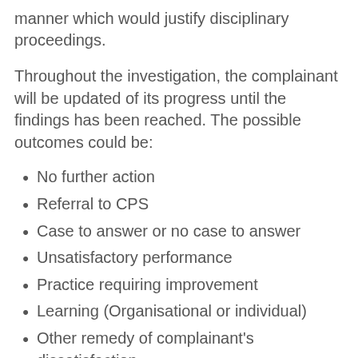manner which would justify disciplinary proceedings.
Throughout the investigation, the complainant will be updated of its progress until the findings has been reached. The possible outcomes could be:
No further action
Referral to CPS
Case to answer or no case to answer
Unsatisfactory performance
Practice requiring improvement
Learning (Organisational or individual)
Other remedy of complainant's dissatisfaction
Paragraph 28ZA recommendations (if the investigation was carried out by the IOPC or a local policing body, or under the direction of the